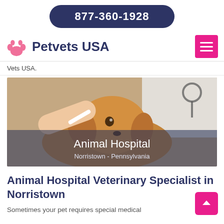877-360-1928
Petvets USA
Vets USA.
[Figure (photo): A veterinarian in a white coat examining a fluffy golden/brown dog, with a stethoscope visible. Overlaid text reads 'Animal Hospital' and 'Norristown - Pennsylvania'.]
Animal Hospital Veterinary Specialist in Norristown
Sometimes your pet requires special medical